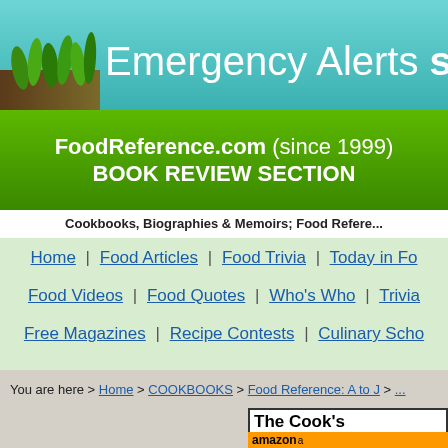[Figure (screenshot): Website banner with teal/cyan gradient background, grass and soil graphic on the left, white bold text reading 'Emergency Alerts save l...' (truncated)]
FoodReference.com (since 1999) BOOK REVIEW SECTION
Cookbooks, Biographies & Memoirs; Food Refere...
Home | Food Articles | Food Trivia | Today in Fo...
Food Videos | Food Quotes | Who's Who | Trivia...
Free Magazines | Recipe Contests | Culinary Scho...
You are here > Home > COOKBOOKS > Food Reference: A to J > ...
The Cook's...
[Figure (logo): Amazon logo bar in orange]